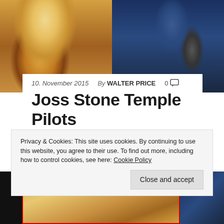[Figure (photo): Two side-by-side photos: left shows a blonde woman with long wavy hair wearing a beaded necklace; right shows a man performing on stage with a guitar, wearing a blue patterned shirt]
10. November 2015   By WALTER PRICE   0
Joss Stone Temple Pilots
[Figure (infographic): Social share buttons showing 299 social count, Facebook button with f icon, Twitter button with bird icon]
[Figure (photo): Bottom strip photos showing the same two subjects at smaller scale]
Privacy & Cookies: This site uses cookies. By continuing to use this website, you agree to their use. To find out more, including how to control cookies, see here: Cookie Policy
Close and accept